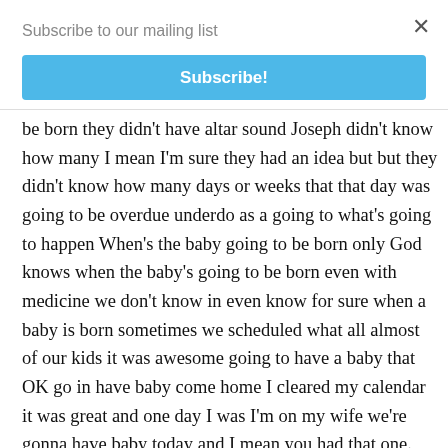Subscribe to our mailing list
Subscribe!
be born they didn't have altar sound Joseph didn't know how many I mean I'm sure they had an idea but but they didn't know how many days or weeks that that day was going to be overdue underdo as a going to what's going to happen When's the baby going to be born only God knows when the baby's going to be born even with medicine we don't know in even know for sure when a baby is born sometimes we scheduled what all almost of our kids it was awesome going to have a baby that OK go in have baby come home I cleared my calendar it was great and one day I was I'm on my wife we're gonna have baby today and I mean you had that one. Whoa whoa OK So you know. And you don't know that so you can't say OK God said